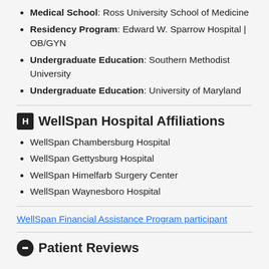Medical School: Ross University School of Medicine
Residency Program: Edward W. Sparrow Hospital | OB/GYN
Undergraduate Education: Southern Methodist University
Undergraduate Education: University of Maryland
WellSpan Hospital Affiliations
WellSpan Chambersburg Hospital
WellSpan Gettysburg Hospital
WellSpan Himelfarb Surgery Center
WellSpan Waynesboro Hospital
WellSpan Financial Assistance Program participant
Patient Reviews